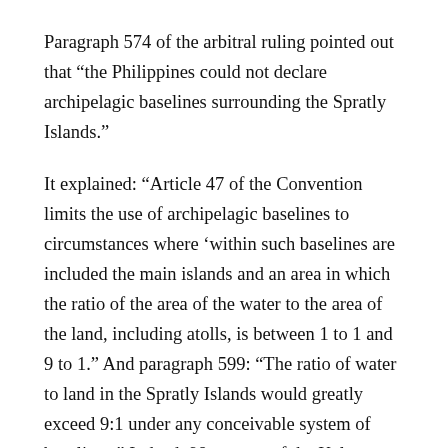Paragraph 574 of the arbitral ruling pointed out that “the Philippines could not declare archipelagic baselines surrounding the Spratly Islands.”
It explained: “Article 47 of the Convention limits the use of archipelagic baselines to circumstances where ‘within such baselines are included the main islands and an area in which the ratio of the area of the water to the area of the land, including atolls, is between 1 to 1 and 9 to 1.” And paragraph 599: “The ratio of water to land in the Spratly Islands would greatly exceed 9:1 under any conceivable system of baselines.” Indeed, 98 percent of the Kalayaan Island Group is made up of water.
Without those baselines, we give up our KIG, a